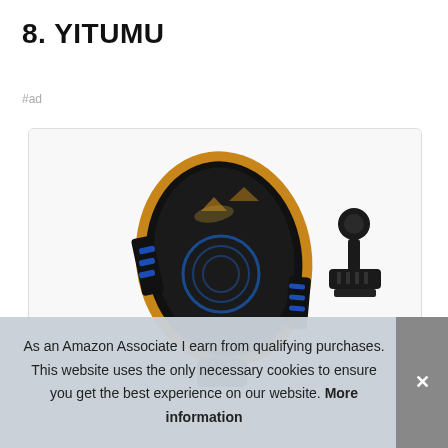8. YITUMU
#ad
[Figure (photo): YITUMU wireless car phone mount charger with gold/black design, showing the charging pad with blue accent lights and a separate vent mount accessory]
As an Amazon Associate I earn from qualifying purchases. This website uses the only necessary cookies to ensure you get the best experience on our website. More information